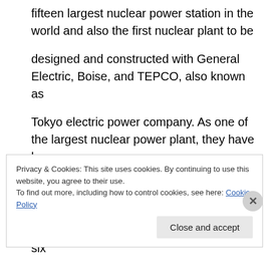fifteen largest nuclear power station in the world and also the first nuclear plant to be designed and constructed with General Electric, Boise, and TEPCO, also known as Tokyo electric power company. As one of the largest nuclear power plant, they have been working under normal conditions until year 2010, where Unit 3’s fuel have been converted from low enriched Uranium to six
Privacy & Cookies: This site uses cookies. By continuing to use this website, you agree to their use. To find out more, including how to control cookies, see here: Cookie Policy